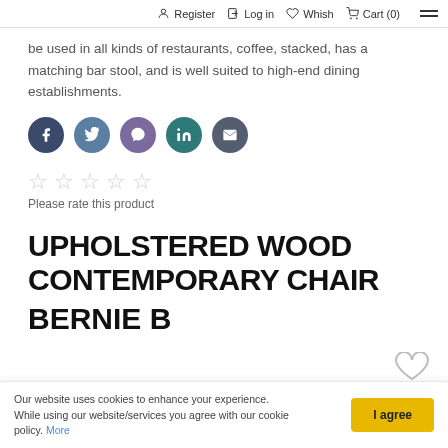Register  Log in  Whish  Cart (0)
be used in all kinds of restaurants, coffee, stacked, has a matching bar stool, and is well suited to high-end dining establishments.
[Figure (infographic): Row of 5 social media share icons: Facebook (dark navy), Twitter (blue-grey), Viber (purple), LinkedIn (teal), Email (dark grey)]
[Figure (infographic): 5 empty star rating icons (no fill, light grey outlines)]
Please rate this product
UPHOLSTERED WOOD CONTEMPORARY CHAIR
BERNIE B
Our website uses cookies to enhance your experience. While using our website/services you agree with our cookie policy. More